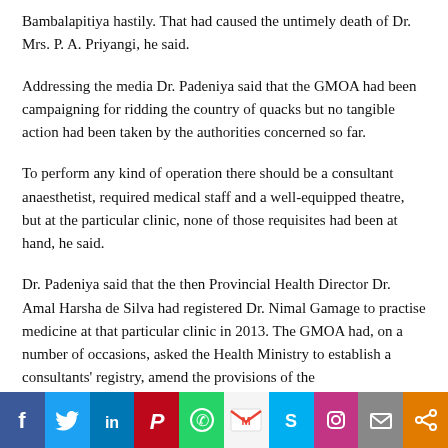Bambalapitiya hastily. That had caused the untimely death of Dr. Mrs. P. A. Priyangi, he said.
Addressing the media Dr. Padeniya said that the GMOA had been campaigning for ridding the country of quacks but no tangible action had been taken by the authorities concerned so far.
To perform any kind of operation there should be a consultant anaesthetist, required medical staff and a well-equipped theatre, but at the particular clinic, none of those requisites had been at hand, he said.
Dr. Padeniya said that the then Provincial Health Director Dr. Amal Harsha de Silva had registered Dr. Nimal Gamage to practise medicine at that particular clinic in 2013. The GMOA had, on a number of occasions, asked the Health Ministry to establish a consultants' registry, amend the provisions of the
[Figure (infographic): Social media sharing bar with icons: Facebook, Twitter, LinkedIn, Pinterest, WhatsApp, Gmail, Skype, Instagram, Email, Share]